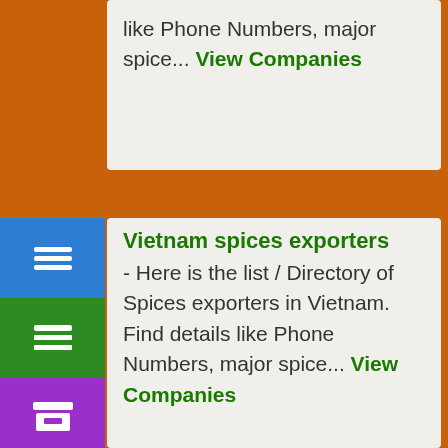like Phone Numbers, major spice... View Companies
Vietnam spices exporters
- Here is the list / Directory of Spices exporters in Vietnam. Find details like Phone Numbers, major spice... View Companies
GYPT
Spice importers in Egypt
- Here is the list / Directory of Spice importers in Egypt. Find details like Phone Numbers, major spice... View Companies